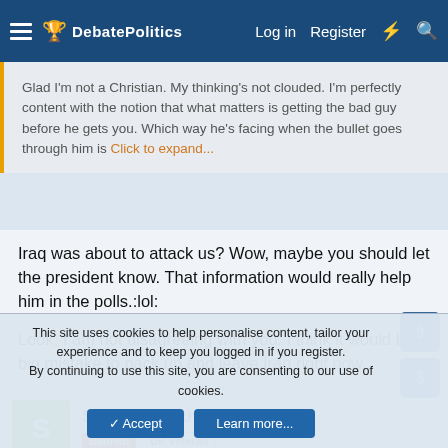DebatePolitics — Log in   Register
Glad I'm not a Christian. My thinking's not clouded. I'm perfectly content with the notion that what matters is getting the bad guy before he gets you. Which way he's facing when the bullet goes through him is... Click to expand...
Iraq was about to attack us? Wow, maybe you should let the president know. That information would really help him in the polls.:lol:

Look, I am not disagreeing with you. I think it would be a big mistake to pack up and leave Iraq right now.
Scarecrow Akhbar
Banned   DP Veteran
This site uses cookies to help personalise content, tailor your experience and to keep you logged in if you register.
By continuing to use this site, you are consenting to our use of cookies.
Accept   Learn more...